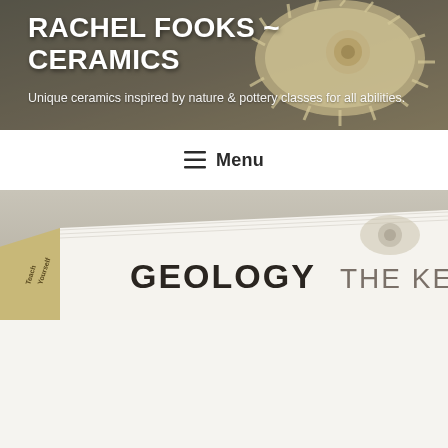RACHEL FOOKS ~ CERAMICS
Unique ceramics inspired by nature & pottery classes for all abilities.
[Figure (screenshot): Navigation bar with hamburger menu icon and 'Menu' text]
[Figure (photo): Close-up photo of a book spine reading 'GEOLOGY THE KEY ID' (Teach Yourself series)]